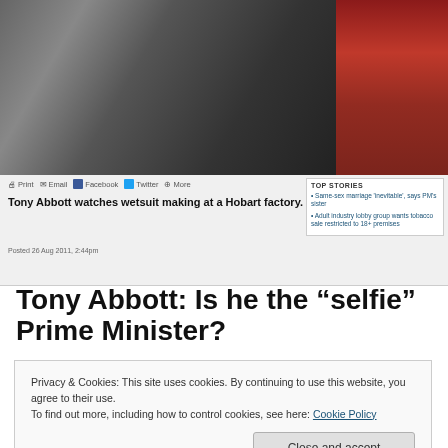[Figure (photo): Photo of Tony Abbott at a Hobart factory, with another person visible, one wearing a red striped tie]
Tony Abbott watches wetsuit making at a Hobart factory.
Posted 26 Aug 2011, 2:44pm
Tony Abbott: Is he the “selfie” Prime Minister?
Tony Abbott has been Australia’s Prime Minister now for
Privacy & Cookies: This site uses cookies. By continuing to use this website, you agree to their use.
To find out more, including how to control cookies, see here: Cookie Policy
Close and accept